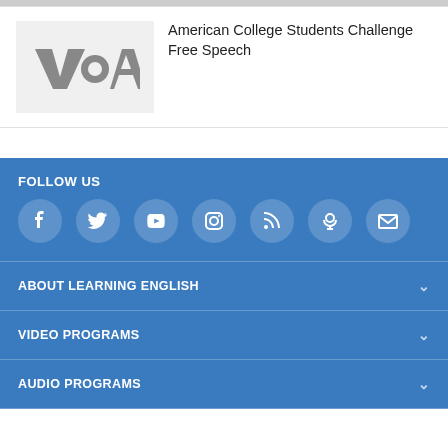[Figure (logo): VOA (Voice of America) logo in gray on light gray background thumbnail]
American College Students Challenge Free Speech
FOLLOW US
[Figure (infographic): Row of social media icons: Facebook, Twitter, YouTube, Instagram, RSS, Podcast, Email — white icons on circular white-tinted backgrounds on blue]
ABOUT LEARNING ENGLISH
VIDEO PROGRAMS
AUDIO PROGRAMS